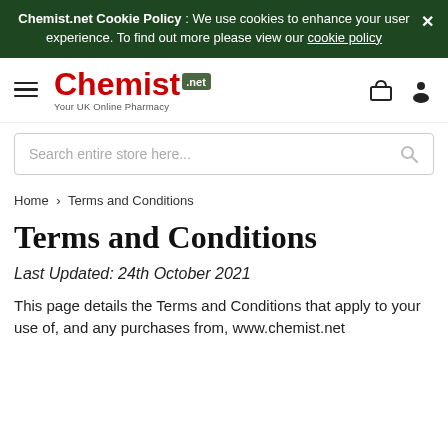Chemist.net Cookie Policy : We use cookies to enhance your user experience. To find out more please view our cookie policy
[Figure (logo): Chemist.net logo with red text 'Chemist' and green plus badge with '.net', subtitle 'Your UK Online Pharmacy'. Hamburger menu icon on left, basket and user icons on right.]
Search entire store here...
Home > Terms and Conditions
Terms and Conditions
Last Updated: 24th October 2021
This page details the Terms and Conditions that apply to your use of, and any purchases from, www.chemist.net